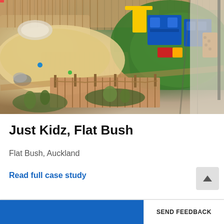[Figure (photo): Outdoor playground area at Just Kidz Flat Bush childcare centre, showing a sandbox area on the left with colorful toys, a green artificial turf area with blue climbing structures and jungle gym equipment on the right, a wooden deck pathway in the center with rope and post fencing, garden beds with plants, and a concrete path on the far right. Wooden fence visible in the background.]
Just Kidz, Flat Bush
Flat Bush, Auckland
Read full case study